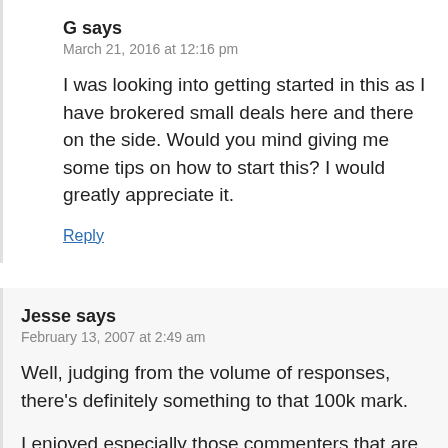G says
March 21, 2016 at 12:16 pm
I was looking into getting started in this as I have brokered small deals here and there on the side. Would you mind giving me some tips on how to start this? I would greatly appreciate it.
Reply
Jesse says
February 13, 2007 at 2:49 am
Well, judging from the volume of responses, there's definitely something to that 100k mark.
I enjoyed especially those commenters that are pulling in side income through creative efforts